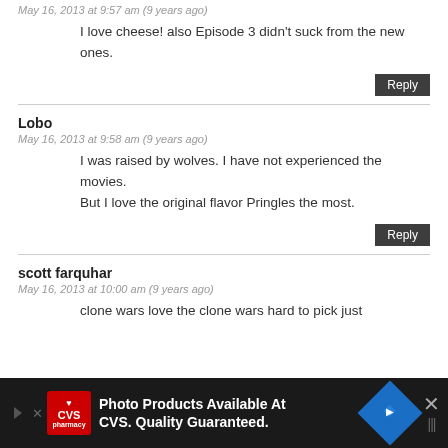May 16, 2013 at 9:57 am (9 years ago)
I love cheese! also Episode 3 didn't suck from the new ones.
Reply
Lobo
May 16, 2013 at 9:58 am (9 years ago)
I was raised by wolves. I have not experienced the movies.
But I love the original flavor Pringles the most.
Reply
scott farquhar
May 16, 2013 at 10:00 am (9 years ago)
clone wars love the clone wars hard to pick just
[Figure (infographic): CVS Pharmacy advertisement banner: 'Photo Products Available At CVS. Quality Guaranteed.' with CVS logo, navigation arrow icons, and close button]